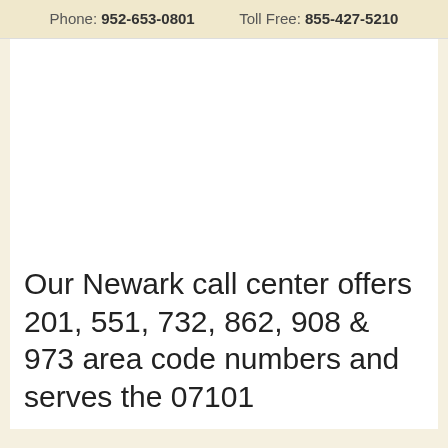Phone: 952-653-0801   Toll Free: 855-427-5210
Our Newark call center offers 201, 551, 732, 862, 908 & 973 area code numbers and serves the 07101